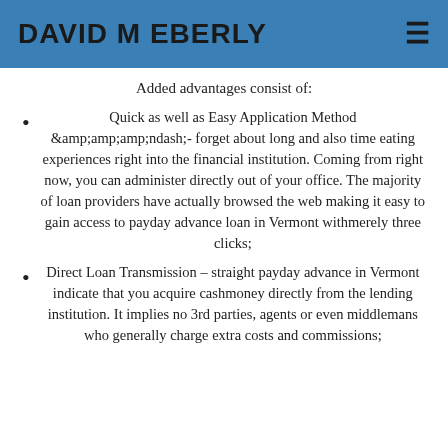DAVID M EBERLY
Added advantages consist of:
Quick as well as Easy Application Method &amp;amp;amp;amp;ndash;- forget about long and also time eating experiences right into the financial institution. Coming from right now, you can administer directly out of your office. The majority of loan providers have actually browsed the web making it easy to gain access to payday advance loan in Vermont withmerely three clicks;
Direct Loan Transmission – straight payday advance in Vermont indicate that you acquire cashmoney directly from the lending institution. It implies no 3rd parties, agents or even middlemans who generally charge extra costs and commissions;